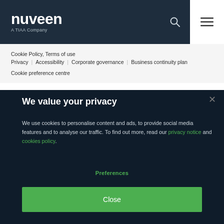nuveen — A TIAA Company
Cookie Policy, Terms of use
Privacy  Accessibility  Corporate governance  Business continuity plan  Cookie preference centre
We value your privacy
We use cookies to personalise content and ads, to provide social media features and to analyse our traffic. To find out more, read our privacy notice and cookies policy.
Preferences
Close